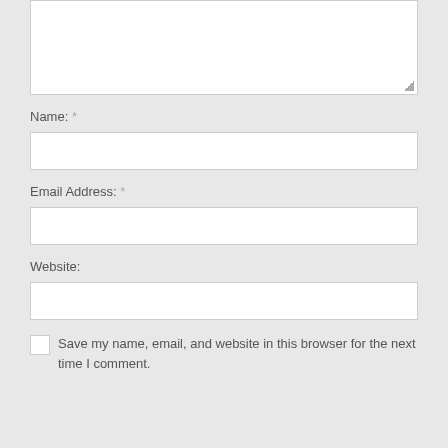[Figure (screenshot): A text area input box (empty) with a resize handle in the bottom-right corner, with a light gray background]
Name: *
[Figure (screenshot): An empty text input field for Name]
Email Address: *
[Figure (screenshot): An empty text input field for Email Address]
Website:
[Figure (screenshot): An empty text input field for Website]
Save my name, email, and website in this browser for the next time I comment.